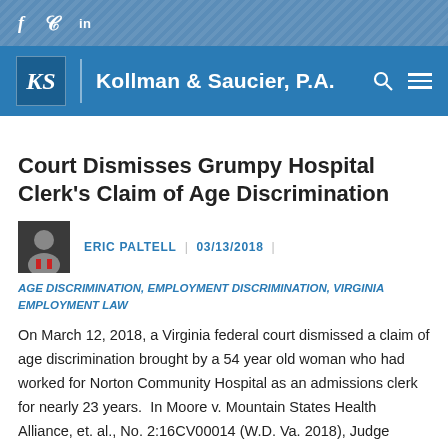f  tw  in
[Figure (logo): Kollman & Saucier, P.A. law firm logo with KS monogram on blue background, search and menu icons]
Court Dismisses Grumpy Hospital Clerk's Claim of Age Discrimination
ERIC PALTELL  |  03/13/2018  |
AGE DISCRIMINATION, EMPLOYMENT DISCRIMINATION, VIRGINIA EMPLOYMENT LAW
On March 12, 2018, a Virginia federal court dismissed a claim of age discrimination brought by a 54 year old woman who had worked for Norton Community Hospital as an admissions clerk for nearly 23 years.  In Moore v. Mountain States Health Alliance, et. al., No. 2:16CV00014 (W.D. Va. 2018), Judge James Jones granted summary judgment to the employer, reasoning that the undisputed facts showed that the plaintiff could not prove that she